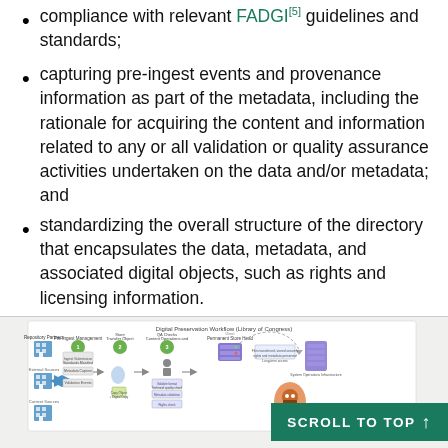compliance with relevant FADGI[5] guidelines and standards;
capturing pre-ingest events and provenance information as part of the metadata, including the rationale for acquiring the content and information related to any or all validation or quality assurance activities undertaken on the data and/or metadata; and
standardizing the overall structure of the directory that encapsulates the data, metadata, and associated digital objects, such as rights and licensing information.
[Figure (flowchart): Digital Preservation Workflow (Library of Congress) diagram showing a multi-step process with icons for repositories, metadata management, content operations, and storage systems, with a 'SCROLL TO TOP' button overlay in teal.]